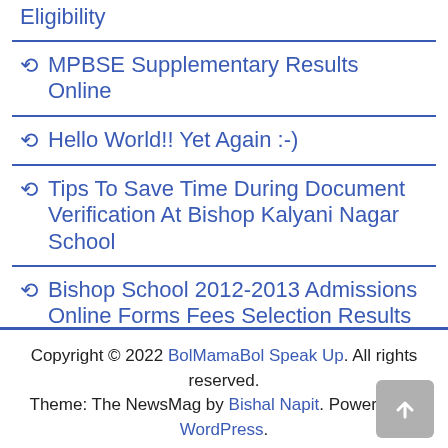Eligibility
MPBSE Supplementary Results Online
Hello World!! Yet Again :-)
Tips To Save Time During Document Verification At Bishop Kalyani Nagar School
Bishop School 2012-2013 Admissions Online Forms Fees Selection Results Age Limit For Nursery Co-Ed School KalyaniNagar Undri Camp
Copyright © 2022 BolMamaBol Speak Up. All rights reserved. Theme: The NewsMag by Bishal Napit. Powered by WordPress.